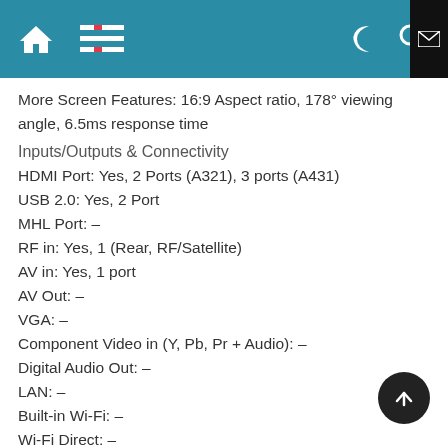Navigation bar with home, menu, moon/night mode, search, and mail icons
More Screen Features: 16:9 Aspect ratio, 178° viewing angle, 6.5ms response time
Inputs/Outputs & Connectivity
HDMI Port: Yes, 2 Ports (A321), 3 ports (A431)
USB 2.0: Yes, 2 Port
MHL Port: –
RF in: Yes, 1 (Rear, RF/Satellite)
AV in: Yes, 1 port
AV Out: –
VGA: –
Component Video in (Y, Pb, Pr + Audio): –
Digital Audio Out: –
LAN: –
Built-in Wi-Fi: –
Wi-Fi Direct: –
Miracast: –
WiDi: –
Digital Broadcasting: –